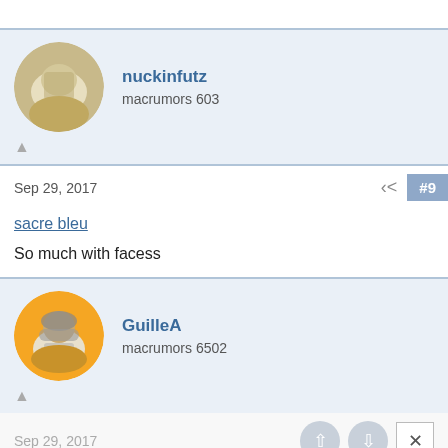nuckinfutz
macrumors 603
Sep 29, 2017  #9
sacre bleu
So much with facess
GuilleA
macrumors 6502
Sep 29, 2017